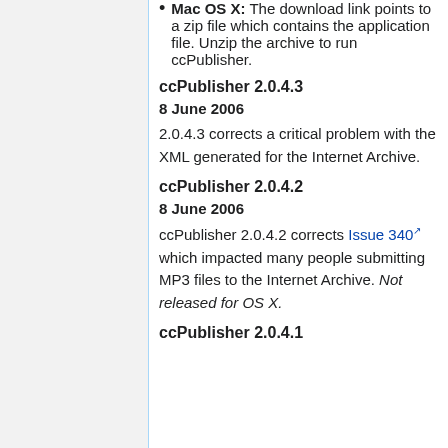Mac OS X: The download link points to a zip file which contains the application file. Unzip the archive to run ccPublisher.
ccPublisher 2.0.4.3
8 June 2006
2.0.4.3 corrects a critical problem with the XML generated for the Internet Archive.
ccPublisher 2.0.4.2
8 June 2006
ccPublisher 2.0.4.2 corrects Issue 340 which impacted many people submitting MP3 files to the Internet Archive. Not released for OS X.
ccPublisher 2.0.4.1